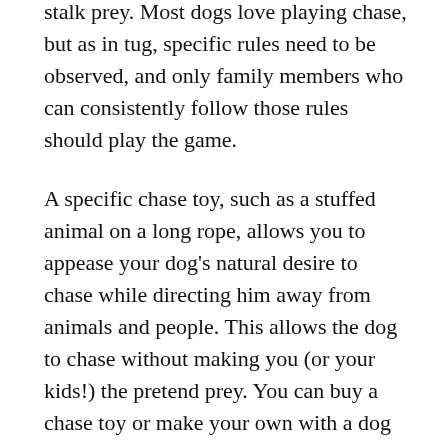stalk prey. Most dogs love playing chase, but as in tug, specific rules need to be observed, and only family members who can consistently follow those rules should play the game.
A specific chase toy, such as a stuffed animal on a long rope, allows you to appease your dog's natural desire to chase while directing him away from animals and people. This allows the dog to chase without making you (or your kids!) the pretend prey. You can buy a chase toy or make your own with a dog toy attached to a sturdy rope or the line on a fishing pole (no hooks, please).
Before you get out the chase toy, make sure your dog knows the signal for “drop it.” Once he catches the toy, ask him to drop it (rather than tugging it out of his mouth) before the game begins again, as the toy and rope may not withstand heavy tugging or chewing, and pulling on fishing filament could injure tender tissue in his mouth.
When playing chase, it is important not to run after your dog...